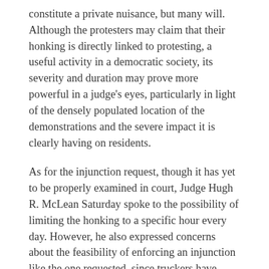constitute a private nuisance, but many will. Although the protesters may claim that their honking is directly linked to protesting, a useful activity in a democratic society, its severity and duration may prove more powerful in a judge's eyes, particularly in light of the densely populated location of the demonstrations and the severe impact it is clearly having on residents.
As for the injunction request, though it has yet to be properly examined in court, Judge Hugh R. McLean Saturday spoke to the possibility of limiting the honking to a specific hour every day. However, he also expressed concerns about the feasibility of enforcing an injunction like the one requested, since truckers have constantly been moving in and out of Ottawa, and most of the potential